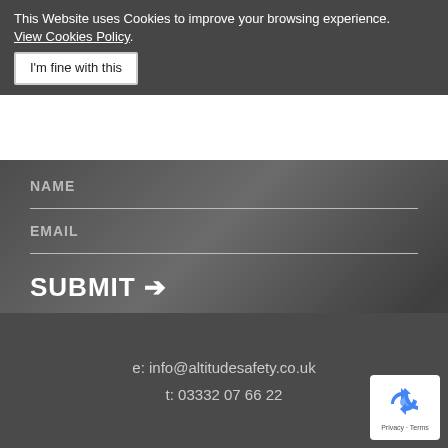This Website uses Cookies to improve your browsing experience. View Cookies Policy.
I'm fine with this
NAME
EMAIL
SUBMIT →
I have read the privacy policy and understand how my data will be used.
e: info@altitudesafety.co.uk
t: 03332 07 66 22
[Figure (logo): reCAPTCHA badge with recycling-arrow logo and Privacy - Terms text]